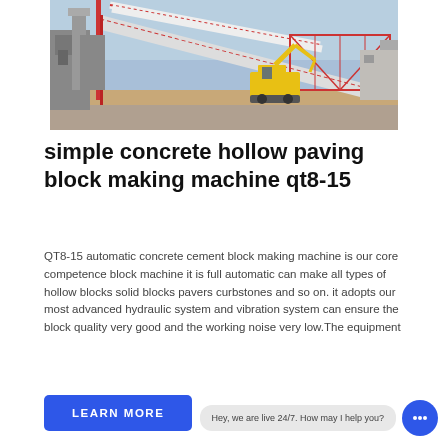[Figure (photo): Industrial construction site with conveyor belts, a yellow excavator, and factory structures under a blue sky.]
simple concrete hollow paving block making machine qt8-15
QT8-15 automatic concrete cement block making machine is our core competence block machine it is full automatic can make all types of hollow blocks solid blocks pavers curbstones and so on. it adopts our most advanced hydraulic system and vibration system can ensure the block quality very good and the working noise very low.The equipment
LEARN MORE
Hey, we are live 24/7. How may I help you?